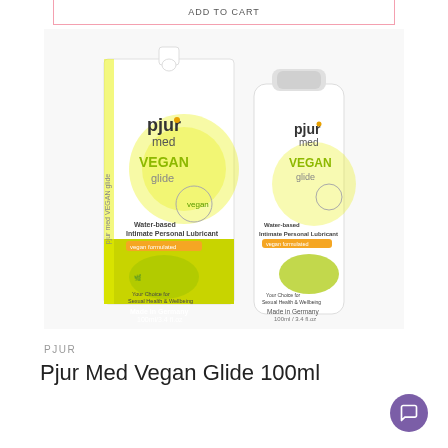ADD TO CART
[Figure (photo): Product photo of Pjur Med Vegan Glide 100ml — showing both the box packaging and the bottle. Both display 'pjur med VEGAN glide' branding with yellow/green accents, featuring text: Water-based Intimate Personal Lubricant, vegan formulated, Your Choice for Sexual Health & Wellbeing, Made in Germany, 100ml/3.4 fl oz]
PJUR
Pjur Med Vegan Glide 100ml